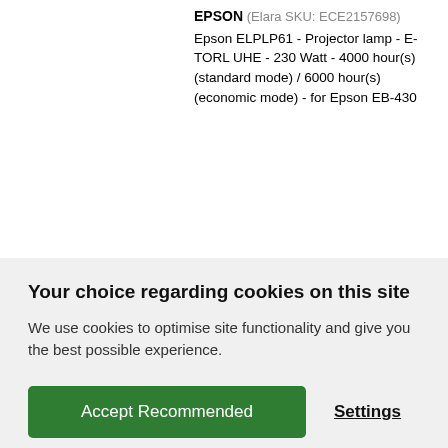EPSON (Elara SKU: ECE2157698) Epson ELPLP61 - Projector lamp - E-TORL UHE - 230 Watt - 4000 hour(s) (standard mode) / 6000 hour(s) (economic mode) - for Epson EB-430
Your choice regarding cookies on this site
We use cookies to optimise site functionality and give you the best possible experience.
Accept Recommended
Settings